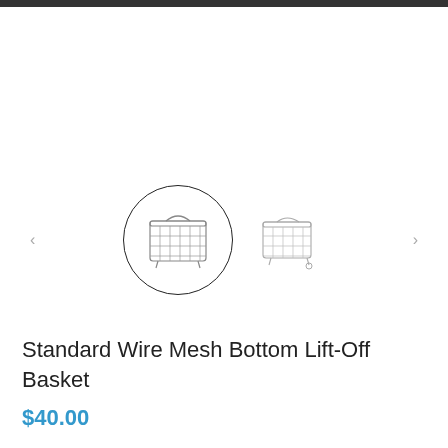[Figure (photo): Two thumbnail images of wire mesh shopping baskets. The first thumbnail is enclosed in a circle border showing a front view of a wire mesh basket. The second thumbnail shows a side/angled view of the same basket type. Navigation arrows are on left and right.]
Standard Wire Mesh Bottom Lift-Off Basket
$40.00